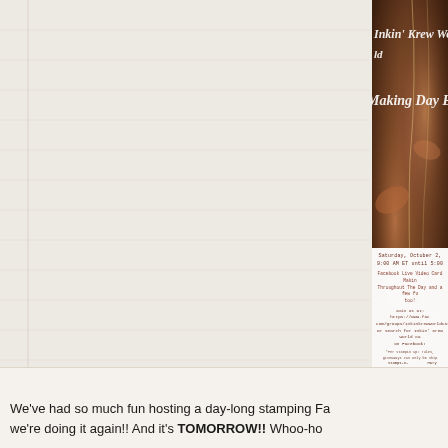[Figure (photo): Event flyer image: dark autumn/floral photo background with white script text reading 'Inkin Krew World Card Making Day Event'. Below is a white overlay card with event details.]
Saturday, October 2,
9:00 AM ET until 5:00

Facebook Live Video Card Makin
Throughout The Day and a few fu
too!

Join us at: https://www.fac
com/groups/inkinkrewworldcard
Or search for Inkin' Krew World Ca
on Facebook!

*Per Stampin Up! rules, giveaways can only be ship
Stamps-n-Lingers@comcast.net    Mary Deatherage
We've had so much fun hosting a day-long stamping Fa
we're doing it again!!  And it's TOMORROW!! Whoo-ho